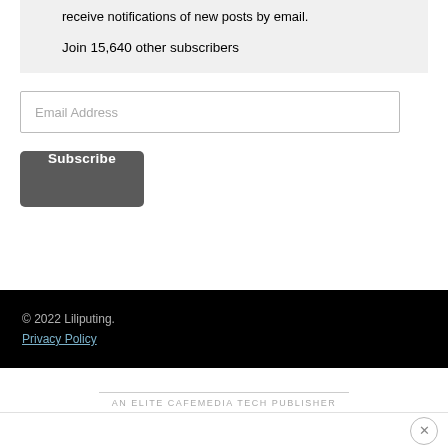receive notifications of new posts by email.
Join 15,640 other subscribers
Email Address
Subscribe
© 2022 Liliputing.
Privacy Policy
AN ELITE CAFEMEDIA TECH PUBLISHER